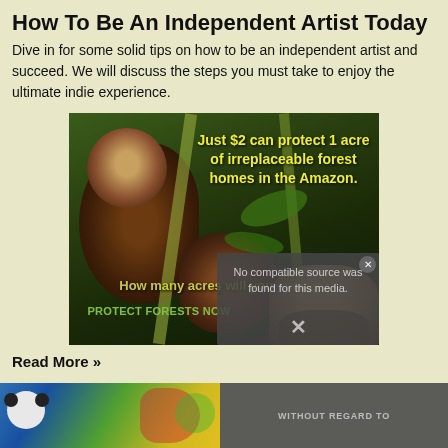How To Be An Independent Artist Today
Dive in for some solid tips on how to be an independent artist and succeed. We will discuss the steps you must take to enjoy the ultimate indie experience.
[Figure (photo): Advertisement image featuring two titi monkeys on bamboo branches in the Amazon rainforest. Text overlay reads: 'Just $2 can protect 1 acre of irreplaceable forest homes in the Amazon.' and 'How many acres will you protect?' with a 'PROTECT FORESTS NOW' button. A video error overlay shows 'No compatible source was found for this media.' with an X close button. A partial face image of a bearded man is visible in the lower right corner.]
Read More »
[Figure (screenshot): Bottom banner showing a colorful advertisement on the left with animated characters and a panda, and a gray overlay on the right reading 'WITHOUT REGARD TO'.]